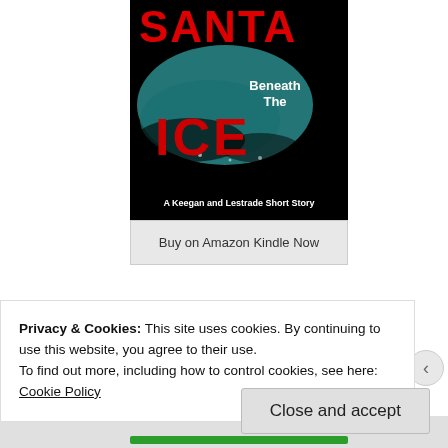[Figure (illustration): Book cover for 'Santa Beneath The Ice: A Keegan and Lestrade Short Story'. Black background with teal icy shape in center. 'SANTA' in large red text at top, 'Beneath The' in white text to the right, 'ICE' in large red text below, and 'A Keegan and Lestrade Short Story' in white text at bottom.]
Buy on Amazon Kindle Now
Recent Stories
Privacy & Cookies: This site uses cookies. By continuing to use this website, you agree to their use.
To find out more, including how to control cookies, see here: Cookie Policy
Close and accept